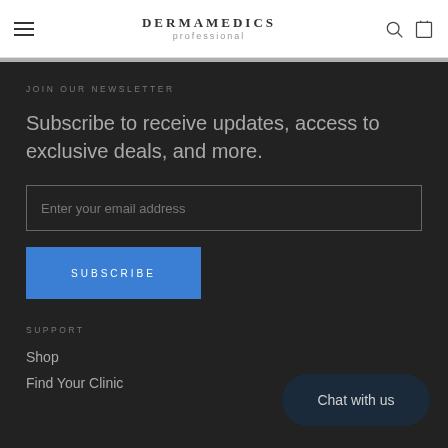DermaMedics professional
JOIN OUR NEWSLETTER
Subscribe to receive updates, access to exclusive deals, and more.
Enter your email address
SUBSCRIBE
SUPPORT
Shop
Find Your Clinic
Chat with us